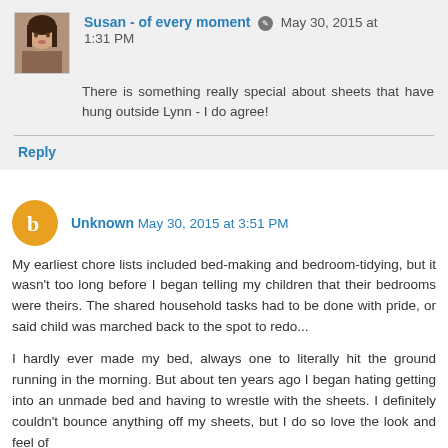Susan - of every moment  May 30, 2015 at 1:31 PM
There is something really special about sheets that have hung outside Lynn - I do agree!
Reply
Unknown  May 30, 2015 at 3:51 PM
My earliest chore lists included bed-making and bedroom-tidying, but it wasn't too long before I began telling my children that their bedrooms were theirs. The shared household tasks had to be done with pride, or said child was marched back to the spot to redo...
I hardly ever made my bed, always one to literally hit the ground running in the morning. But about ten years ago I began hating getting into an unmade bed and having to wrestle with the sheets. I definitely couldn't bounce anything off my sheets, but I do so love the look and feel of